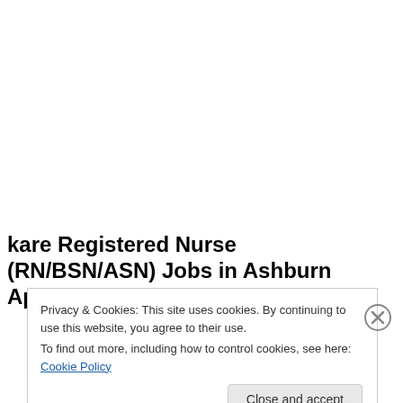kare Registered Nurse (RN/BSN/ASN) Jobs in Ashburn Apply Now
Privacy & Cookies: This site uses cookies. By continuing to use this website, you agree to their use.
To find out more, including how to control cookies, see here: Cookie Policy
Close and accept